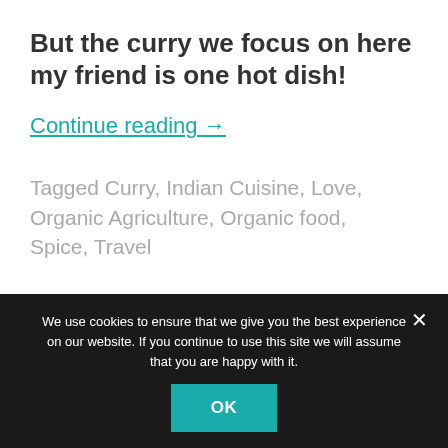But the curry we focus on here my friend is one hot dish!
Continue reading →
Tagged Curry, Indian Cuisine, Love, Organic Agriculture, Organic food, Spice, Travel
We use cookies to ensure that we give you the best experience on our website. If you continue to use this site we will assume that you are happy with it.